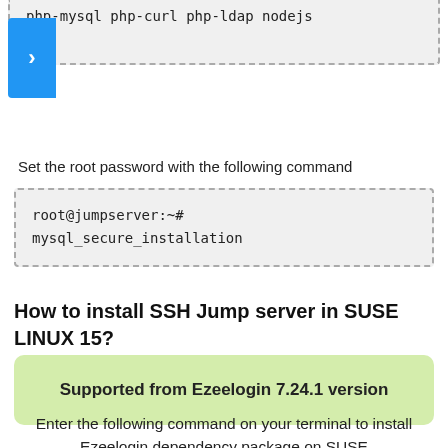php-mysql php-curl php-ldap nodejs git
Set the root password with the following command
root@jumpserver:~#
mysql_secure_installation
How to install SSH Jump server in SUSE LINUX 15?
Supported from Ezeelogin 7.24.1 version
Enter the following command on your terminal to install Ezeelogin dependency package on SUSE